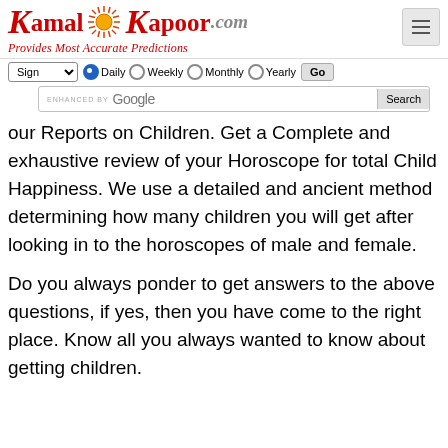KamalKapoor.com — Provides Most Accurate Predictions
[Figure (screenshot): Website navigation bar with Sign dropdown, Daily/Weekly/Monthly/Yearly radio buttons, Go button, and Google search bar]
our Reports on Children. Get a Complete and exhaustive review of your Horoscope for total Child Happiness. We use a detailed and ancient method determining how many children you will get after looking in to the horoscopes of male and female.
Do you always ponder to get answers to the above questions, if yes, then you have come to the right place. Know all you always wanted to know about getting children.